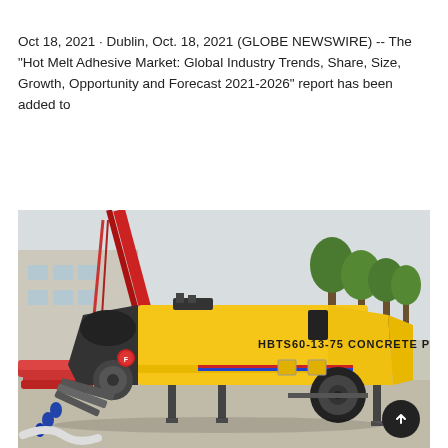Oct 18, 2021 · Dublin, Oct. 18, 2021 (GLOBE NEWSWIRE) -- The "Hot Melt Adhesive Market: Global Industry Trends, Share, Size, Growth, Opportunity and Forecast 2021-2026" report has been added to
[Figure (other): Yellow button/link labeled 'Learn More' on a yellow background]
[Figure (photo): Photo of a yellow HBTS60-13-75 concrete pump truck parked on a concrete surface with trees and construction equipment in the background]